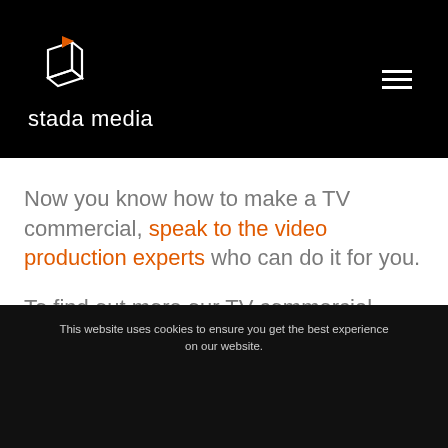[Figure (logo): Stada Media logo: white geometric cube outline with orange flag/triangle, above text 'stada media' in white]
Now you know how to make a TV commercial, speak to the video production experts who can do it for you.
To find out more our TV commercial production services and what we could do for
This website uses cookies to ensure you get the best experience on our website.
GOT IT
TELL ME MORE